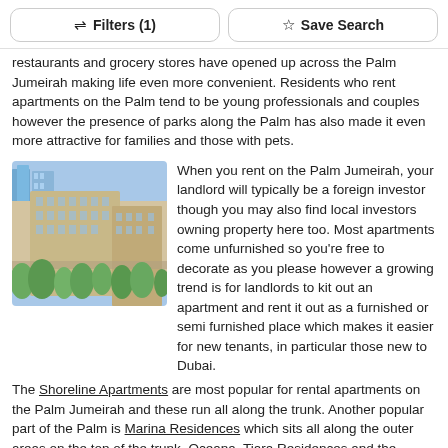Filters (1)  Save Search
restaurants and grocery stores have opened up across the Palm Jumeirah making life even more convenient. Residents who rent apartments on the Palm tend to be young professionals and couples however the presence of parks along the Palm has also made it even more attractive for families and those with pets.
[Figure (photo): Aerial or elevated view of Palm Jumeirah apartment buildings, showing large beige/sandstone multi-storey residential buildings surrounded by palm trees and greenery, with blue sky and taller buildings in background.]
When you rent on the Palm Jumeirah, your landlord will typically be a foreign investor though you may also find local investors owning property here too. Most apartments come unfurnished so you're free to decorate as you please however a growing trend is for landlords to kit out an apartment and rent it out as a furnished or semi furnished place which makes it easier for new tenants, in particular those new to Dubai. The Shoreline Apartments are most popular for rental apartments on the Palm Jumeirah and these run all along the trunk. Another popular part of the Palm is Marina Residences which sits all along the outer areas on the top of the trunk. Oceana, Tiara Residences and the Golden Mile are also sought after apartment buildings due to their location on the Palm.